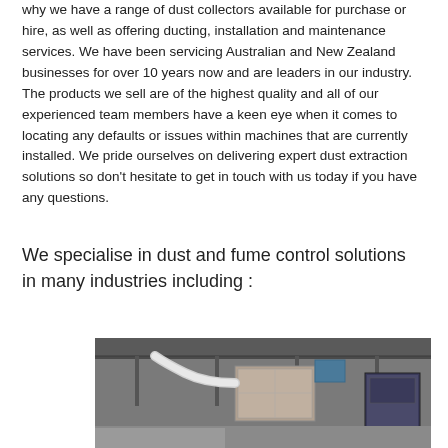why we have a range of dust collectors available for purchase or hire, as well as offering ducting, installation and maintenance services. We have been servicing Australian and New Zealand businesses for over 10 years now and are leaders in our industry. The products we sell are of the highest quality and all of our experienced team members have a keen eye when it comes to locating any defaults or issues within machines that are currently installed. We pride ourselves on delivering expert dust extraction solutions so don't hesitate to get in touch with us today if you have any questions.
We specialise in dust and fume control solutions in many industries including :
[Figure (photo): Photograph of industrial dust extraction equipment installed inside a warehouse or factory, showing ducting pipes and a large rectangular unit mounted near the ceiling.]